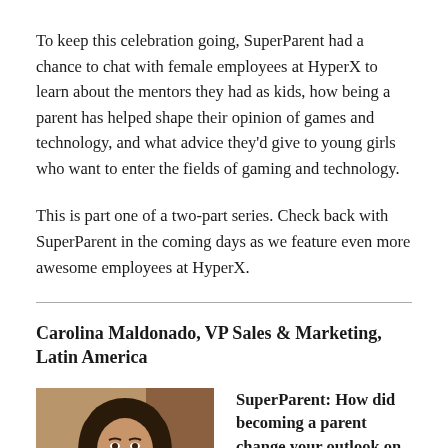To keep this celebration going, SuperParent had a chance to chat with female employees at HyperX to learn about the mentors they had as kids, how being a parent has helped shape their opinion of games and technology, and what advice they'd give to young girls who want to enter the fields of gaming and technology.
This is part one of a two-part series. Check back with SuperParent in the coming days as we feature even more awesome employees at HyperX.
Carolina Maldonado, VP Sales & Marketing, Latin America
[Figure (photo): Portrait photo of Carolina Maldonado, a woman with dark hair, against a warm brown background, cropped at chin level]
SuperParent: How did becoming a parent change your outlook on games and technology?